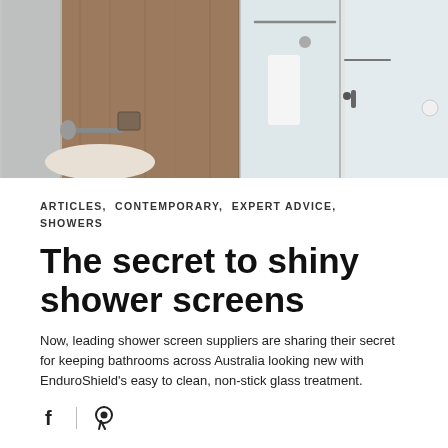[Figure (photo): Modern bathroom with frameless glass shower screens, wood-paneled walls, a wall-mounted faucet over a stone basin, and white towels visible inside the shower]
ARTICLES,  CONTEMPORARY,  EXPERT ADVICE,  SHOWERS
The secret to shiny shower screens
Now, leading shower screen suppliers are sharing their secret for keeping bathrooms across Australia looking new with EnduroShield's easy to clean, non-stick glass treatment.
[Figure (illustration): Social share icons: Facebook (f) and Pinterest (Pinterest symbol)]